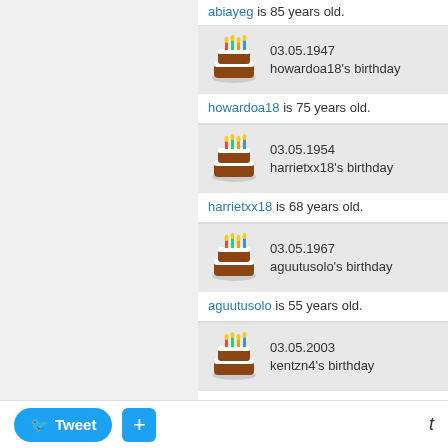abiayeg is 85 years old.
[Figure (screenshot): Birthday cake icon with candles for howardoa18, date 03.05.1947]
howardoa18 is 75 years old.
[Figure (screenshot): Birthday cake icon with candles for harrietxx18, date 03.05.1954]
harrietxx18 is 68 years old.
[Figure (screenshot): Birthday cake icon with candles for aguutusolo, date 03.05.1967]
aguutusolo is 55 years old.
[Figure (screenshot): Birthday cake icon with candles for kentzn4, date 03.05.2003]
kentzn4 is 19 years old.
[Figure (screenshot): Birthday cake icon with candles for shawnavj4, date 03.05.1949]
shawnavj4 is 73 years old.
Tweet  +  t